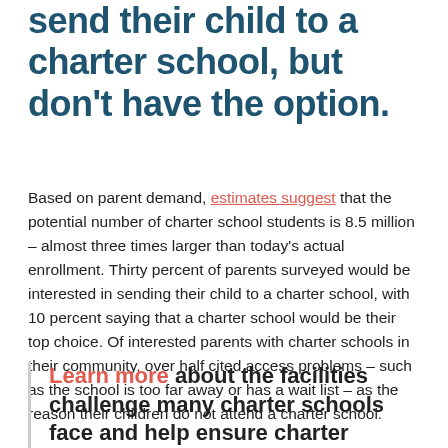send their child to a charter school, but don't have the option.
Based on parent demand, estimates suggest that the potential number of charter school students is 8.5 million – almost three times larger than today's actual enrollment. Thirty percent of parents surveyed would be interested in sending their child to a charter school, with 10 percent saying that a charter school would be their top choice. Of interested parents with charter schools in their community, over half cited access problems – such as the school is too far away or has a wait list – as the reason their children do not attend a charter school.
Learn more about the facilities challenge many charter schools face and help ensure charter schools can